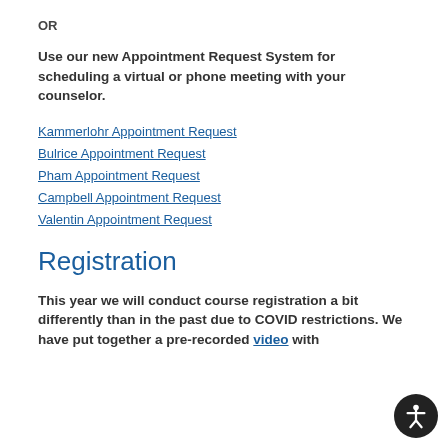OR
Use our new Appointment Request System for scheduling a virtual or phone meeting with your counselor.
Kammerlohr Appointment Request
Bulrice Appointment Request
Pham Appointment Request
Campbell Appointment Request
Valentin Appointment Request
Registration
This year we will conduct course registration a bit differently than in the past due to COVID restrictions. We have put together a pre-recorded video with